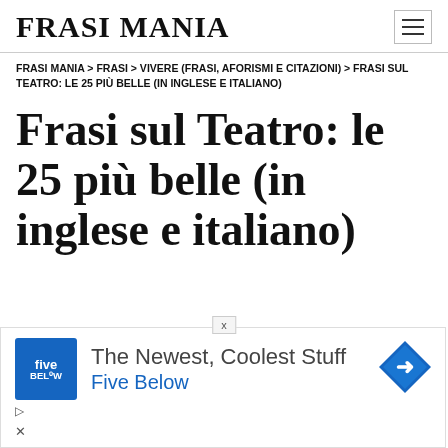FRASI MANIA
FRASI MANIA > FRASI > VIVERE (FRASI, AFORISMI E CITAZIONI) > FRASI SUL TEATRO: LE 25 PIÙ BELLE (IN INGLESE E ITALIANO)
Frasi sul Teatro: le 25 più belle (in inglese e italiano)
[Figure (other): Advertisement for Five Below: 'The Newest, Coolest Stuff - Five Below' with Five Below logo and arrow icon]